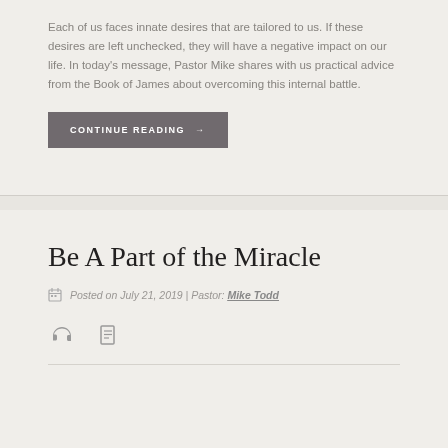Each of us faces innate desires that are tailored to us. If these desires are left unchecked, they will have a negative impact on our life. In today's message, Pastor Mike shares with us practical advice from the Book of James about overcoming this internal battle.
CONTINUE READING →
Be A Part of the Miracle
Posted on July 21, 2019 | Pastor: Mike Todd